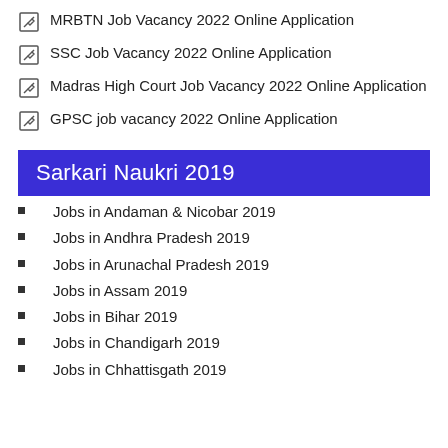MRBTN Job Vacancy 2022 Online Application
SSC Job Vacancy 2022 Online Application
Madras High Court Job Vacancy 2022 Online Application
GPSC job vacancy 2022 Online Application
Sarkari Naukri 2019
Jobs in Andaman & Nicobar 2019
Jobs in Andhra Pradesh 2019
Jobs in Arunachal Pradesh 2019
Jobs in Assam 2019
Jobs in Bihar 2019
Jobs in Chandigarh 2019
Jobs in Chhattisgath 2019